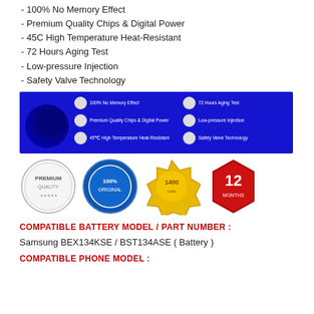- 100% No Memory Effect
- Premium Quality Chips & Digital Power
- 45C High Temperature Heat-Resistant
- 72 Hours Aging Test
- Low-pressure Injection
- Safety Valve Technology
[Figure (infographic): Blue banner showing 5 battery quality features: 100% No Memory Effect, Premium Quality Chips & Digital Power, 45C High Temperature Heat-Resistant, 72 Hours Aging Test, Low-pressure Injection, Safety Valve Technology, each with a circular icon on a blue background.]
[Figure (infographic): Four quality trust badge icons: Premium Quality (gray wreath badge), 100% Original (blue seal), 1400 (gold star badge), 12 Months (red hexagon badge).]
COMPATIBLE BATTERY MODEL / PART NUMBER :
Samsung BEX134KSE / BST134ASE ( Battery )
COMPATIBLE PHONE MODEL :